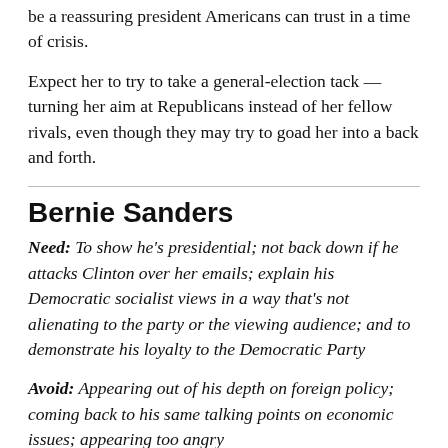be a reassuring president Americans can trust in a time of crisis.
Expect her to try to take a general-election tack — turning her aim at Republicans instead of her fellow rivals, even though they may try to goad her into a back and forth.
Bernie Sanders
Need: To show he's presidential; not back down if he attacks Clinton over her emails; explain his Democratic socialist views in a way that's not alienating to the party or the viewing audience; and to demonstrate his loyalty to the Democratic Party
Avoid: Appearing out of his depth on foreign policy; coming back to his same talking points on economic issues; appearing too angry
If the debate is dominated by foreign policy, Sanders can't be unstaged by Clinton. He needs to